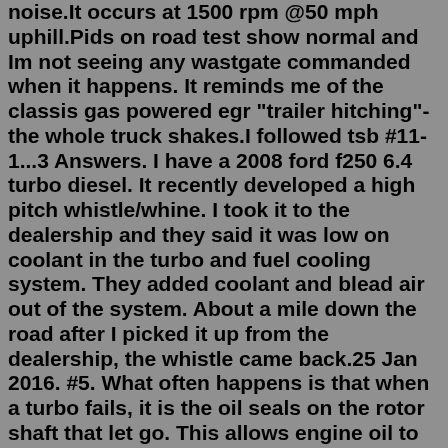noise.It occurs at 1500 rpm @50 mph uphill.Pids on road test show normal and Im not seeing any wastgate commanded when it happens. It reminds me of the classis gas powered egr "trailer hitching"-the whole truck shakes.I followed tsb #11-1...3 Answers. I have a 2008 ford f250 6.4 turbo diesel. It recently developed a high pitch whistle/whine. I took it to the dealership and they said it was low on coolant in the turbo and fuel cooling system. They added coolant and blead air out of the system. About a mile down the road after I picked it up from the dealership, the whistle came back.25 Jan 2016. #5. What often happens is that when a turbo fails, it is the oil seals on the rotor shaft that let go. This allows engine oil to be drawn into the inlet tract and the engine will feed off its own oil. As this is an unmetered fuel supply the engine will 'run away' revving out at maximum revs until the oil supply is exhausted at ...A boost leak damages your diesel truck's performance and lifespan, so it's important to sort out the problem as soon as you come across it. If it's whistling like it's